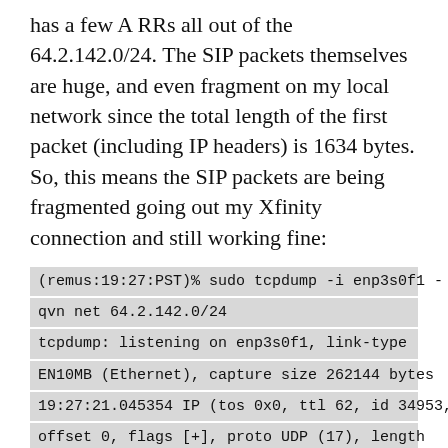has a few A RRs all out of the 64.2.142.0/24. The SIP packets themselves are huge, and even fragment on my local network since the total length of the first packet (including IP headers) is 1634 bytes. So, this means the SIP packets are being fragmented going out my Xfinity connection and still working fine:
[Figure (screenshot): Terminal code block showing tcpdump command and output: (remus:19:27:PST)% sudo tcpdump -i enp3s0f1 -qvn net 64.2.142.0/24 / tcpdump: listening on enp3s0f1, link-type EN10MB (Ethernet), capture size 262144 bytes / 19:27:21.045354 IP (tos 0x0, ttl 62, id 34953, offset 0, flags [+], proto UDP (17), length 1500) / 98.247.161.61.5060 > 64.2.142.188.5060, UDP]